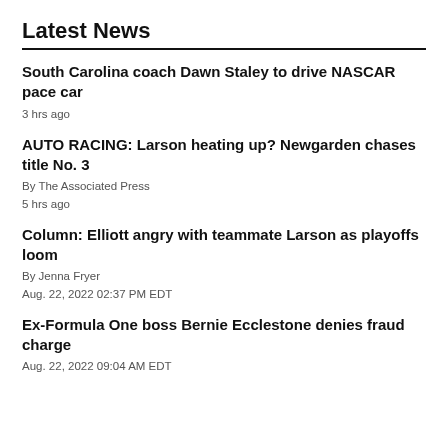Latest News
South Carolina coach Dawn Staley to drive NASCAR pace car
3 hrs ago
AUTO RACING: Larson heating up? Newgarden chases title No. 3
By The Associated Press
5 hrs ago
Column: Elliott angry with teammate Larson as playoffs loom
By Jenna Fryer
Aug. 22, 2022 02:37 PM EDT
Ex-Formula One boss Bernie Ecclestone denies fraud charge
Aug. 22, 2022 09:04 AM EDT